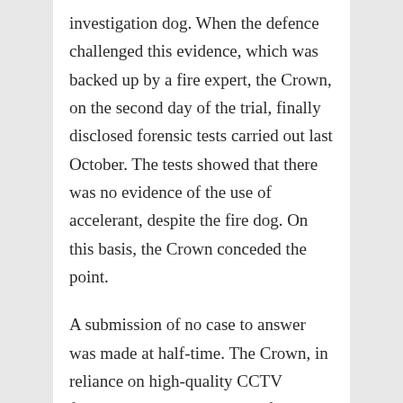investigation dog. When the defence challenged this evidence, which was backed up by a fire expert, the Crown, on the second day of the trial, finally disclosed forensic tests carried out last October. The tests showed that there was no evidence of the use of accelerant, despite the fire dog. On this basis, the Crown conceded the point.
A submission of no case to answer was made at half-time. The Crown, in reliance on high-quality CCTV footage, could show that the five men entered the enclosed area where the